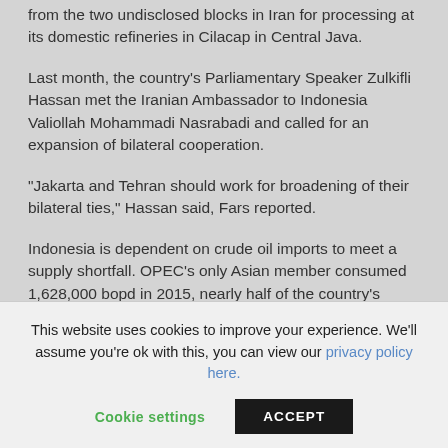from the two undisclosed blocks in Iran for processing at its domestic refineries in Cilacap in Central Java.
Last month, the country's Parliamentary Speaker Zulkifli Hassan met the Iranian Ambassador to Indonesia Valiollah Mohammadi Nasrabadi and called for an expansion of bilateral cooperation.
“Jakarta and Tehran should work for broadening of their bilateral ties,” Hassan said, Fars reported.
Indonesia is dependent on crude oil imports to meet a supply shortfall. OPEC’s only Asian member consumed 1,628,000 bopd in 2015, nearly half of the country’s productionof 825,000 bopd, according to the 2016 edition of BP Statistical Review of World Energy.
Source Di...
This website uses cookies to improve your experience. We’ll assume you’re ok with this, you can view our privacy policy here. Cookie settings ACCEPT